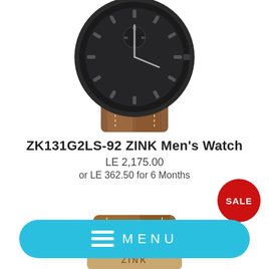[Figure (photo): Close-up of a ZINK men's watch with dark face and brown leather strap with white stitching, shown from top, partially cropped]
ZK131G2LS-92 ZINK Men's Watch
LE 2,175.00
or LE 362.50 for 6 Months
[Figure (illustration): Red circular SALE badge]
[Figure (photo): Bottom portion of the same ZINK watch showing brown leather strap and rose-gold case with ZINK text, partially cropped]
[Figure (screenshot): Cyan/blue rounded MENU button with hamburger icon and MENU text]